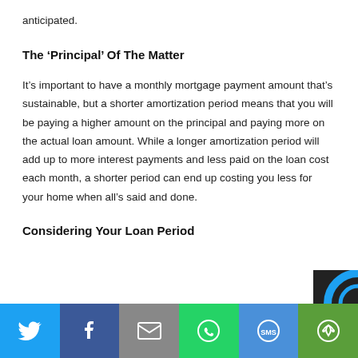anticipated.
The ‘Principal’ Of The Matter
It’s important to have a monthly mortgage payment amount that’s sustainable, but a shorter amortization period means that you will be paying a higher amount on the principal and paying more on the actual loan amount. While a longer amortization period will add up to more interest payments and less paid on the loan cost each month, a shorter period can end up costing you less for your home when all’s said and done.
Considering Your Loan Period
[Figure (infographic): Social media share bar with icons for Twitter (blue), Facebook (dark blue), Email (grey), WhatsApp (green), SMS (blue), and More/share (green)]